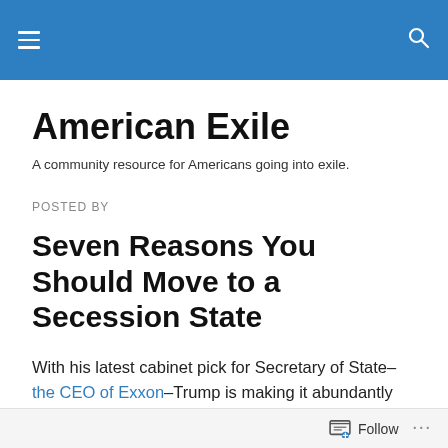American Exile [navigation header with hamburger menu and search icon]
American Exile
A community resource for Americans going into exile.
POSTED BY
Seven Reasons You Should Move to a Secession State
With his latest cabinet pick for Secretary of State–the CEO of Exxon–Trump is making it abundantly clear he is the key agent for the Oligarchs in the United States. Not even
Follow ...